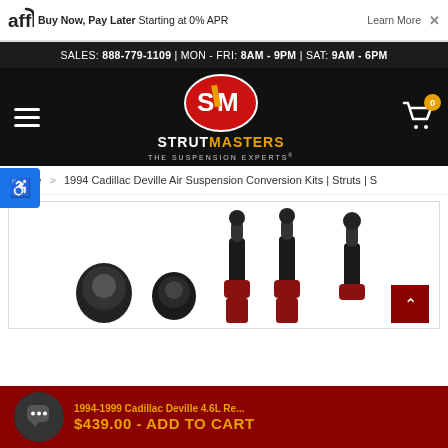affirm | Buy Now, Pay Later Starting at 0% APR | Learn More X
SALES: 888-779-1109 | MON - FRI: 8AM - 9PM | SAT: 9AM - 6PM
[Figure (logo): Strutmasters logo - SM oval in red with yellow stripe, brand name STRUTMASTERS THE SUSPENSION EXPERTS]
Home > 1994 Cadillac Deville Air Suspension Conversion Kits | Struts | S
[Figure (photo): Automotive suspension parts/struts components shown from above on white background]
1994-1999 Cadillac Deville 4.6L Re... $439.00 - ADD TO CART